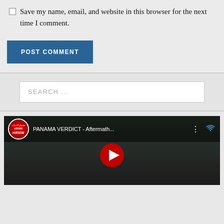Save my name, email, and website in this browser for the next time I comment.
POST COMMENT
SEARCH ...
[Figure (screenshot): YouTube video embed showing 'PANAMA VERDICT - Aftermath...' with HRNW channel logo]